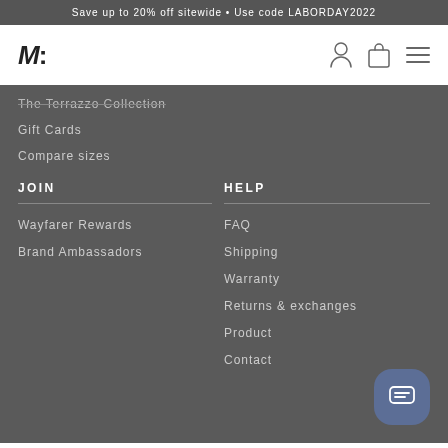Save up to 20% off sitewide • Use code LABORDAY2022
[Figure (logo): M: stylized logo mark]
The Terrazzo Collection
Gift Cards
Compare sizes
JOIN
Wayfarer Rewards
Brand Ambassadors
HELP
FAQ
Shipping
Warranty
Returns & exchanges
Product
Contact